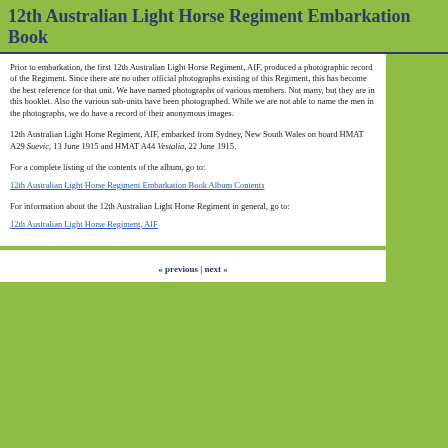12th Australian Light Horse Regiment Embarkation Book
Prior to embarkation, the first 12th Australian Light Horse Regiment, AIF, produced a photographic record of the Regiment. Since there are no other official photographs existing of this Regiment, this has become the best reference for that unit. We have named photographs of various members. Not many, but they are in this booklet. Also the various sub-units have been photographed. While we are not able to name the men in the photographs, we do have a record of their anonymous images.
12th Australian Light Horse Regiment, AIF, embarked from Sydney, New South Wales on board HMAT A29 Suevic, 13 June 1915 and HMAT A44 Vestalia, 22 June 1915.
For a complete listing of the contents of the album, go to:
12th Australian Light Horse Regiment Embarkation Book Album Contents
For information about the 12th Australian Light Horse Regiment in general, go to:
12th Australian Light Horse Regiment, AIF
« previous | next »